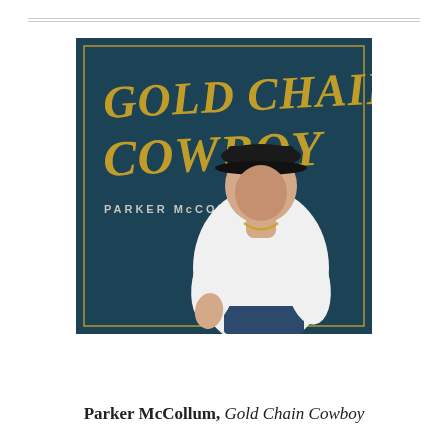[Figure (illustration): Album cover for Parker McCollum's 'Gold Chain Cowboy'. Features a young man in a white t-shirt, black snapback cap, and gold chain necklace, seated casually against a dark teal background. The album title 'Gold Chain Cowboy' is written in large gold brush-script lettering in the upper left, with 'Parker McCollum' in smaller capital letters beneath it. A thin gold rectangular border frames the image.]
Parker McCollum, Gold Chain Cowboy